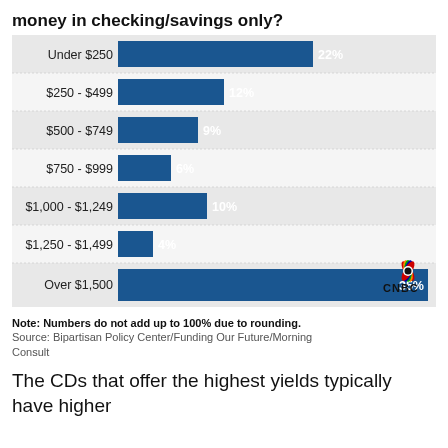money in checking/savings only?
[Figure (bar-chart): money in checking/savings only?]
Note: Numbers do not add up to 100% due to rounding.
Source: Bipartisan Policy Center/Funding Our Future/Morning Consult
The CDs that offer the highest yields typically have higher